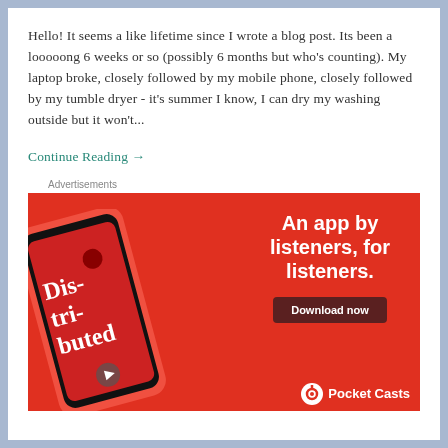Hello! It seems a like lifetime since I wrote a blog post. Its been a looooong 6 weeks or so (possibly 6 months but who's counting). My laptop broke, closely followed by my mobile phone, closely followed by my tumble dryer - it's summer I know, I can dry my washing outside but it won't...
Continue Reading →
Advertisements
[Figure (infographic): Pocket Casts advertisement on red background showing a smartphone displaying 'Dis-tri-buted' podcast app screen. Text reads 'An app by listeners, for listeners.' with a 'Download now' button and Pocket Casts logo at bottom right.]